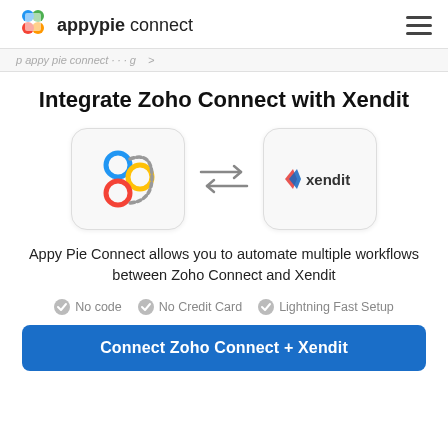appypie connect
[ navigation breadcrumb / partial text ]
Integrate Zoho Connect with Xendit
[Figure (logo): Zoho Connect logo (blue, yellow, red circular icons) and Xendit logo with double arrows between them indicating integration]
Appy Pie Connect allows you to automate multiple workflows between Zoho Connect and Xendit
No code
No Credit Card
Lightning Fast Setup
Connect Zoho Connect + Xendit